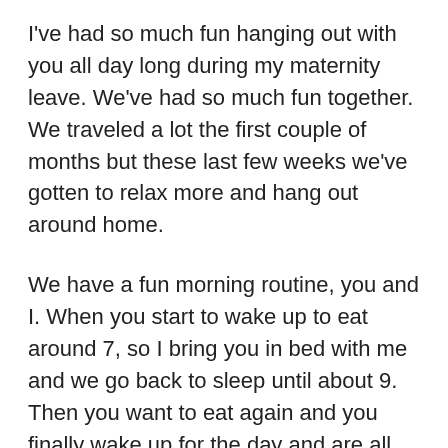I've had so much fun hanging out with you all day long during my maternity leave. We've had so much fun together. We traveled a lot the first couple of months but these last few weeks we've gotten to relax more and hang out around home.
We have a fun morning routine, you and I. When you start to wake up to eat around 7, so I bring you in bed with me and we go back to sleep until about 9. Then you want to eat again and you finally wake up for the day and are all smiley and happy.
I pump some milk for you and we sing songs